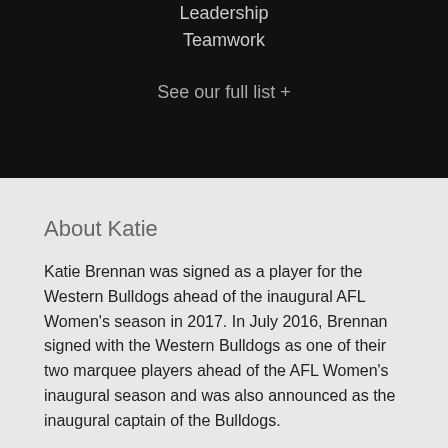Leadership
Teamwork
See our full list +
About Katie
Katie Brennan was signed as a player for the Western Bulldogs ahead of the inaugural AFL Women's season in 2017. In July 2016, Brennan signed with the Western Bulldogs as one of their two marquee players ahead of the AFL Women's inaugural season and was also announced as the inaugural captain of the Bulldogs.
Born in Queensland to Victorian parents, Brennan began playing football with her father and brothers at the age of four. Her first game of competitive football came when she filled in for her brother's under eight side at just six years of age. She kicked seven goals on debut and continued to play